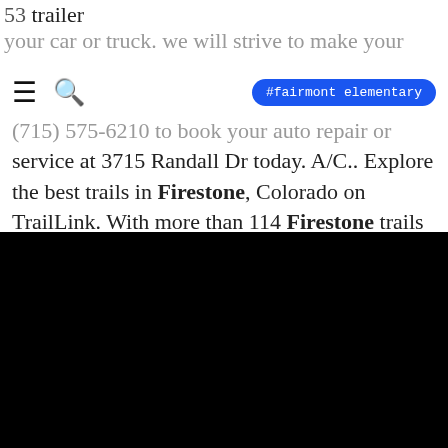53 trailer your car or truck. we will strive to make your
[Figure (screenshot): Navigation bar with hamburger menu, search icon, and blue tag button labeled #fairmont elementary]
(715) 575-6210 to book your auto repair or service at 3715 Randall Dr today. A/C.. Explore the best trails in Firestone, Colorado on TrailLink. With more than 114 Firestone trails covering 732 miles, you're bound to find a
78247
Firestone Building Products is commited to offering a complete line of high-performing roofing solutions as individual as your building. This commitment has resulted in the development of high-performing polyisocyanurate (PIR) insulation.
baha mar sls